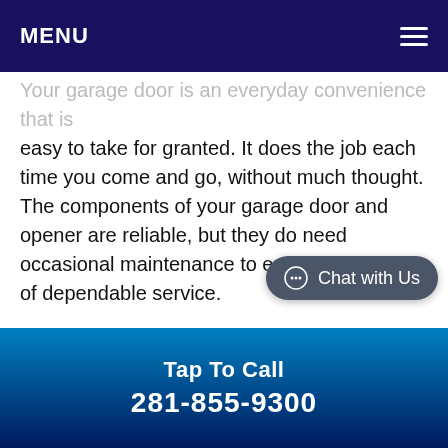MENU
Your garage door is an everyday convenience that is easy to take for granted. It does the job each time you come and go, without much thought. The components of your garage door and opener are reliable, but they do need occasional maintenance to ensure a long life of dependable service.
To keep your garage door working smoothly and reliably, you should schedule regular tune-ups. What does a garage door tune-up involve and why should you get one? Here's a breakdown of the garage door tune-up for homeowners in Tomball.
Tap To Call
281-855-9300